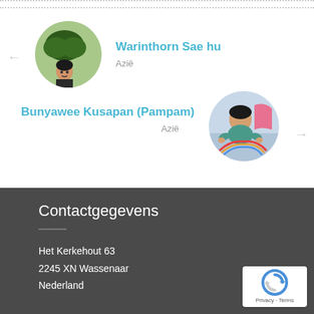[Figure (photo): Profile photo of Warinthorn Sae hu, a woman with dark hair under a tree]
Warinthorn Sae hu
Azië
[Figure (photo): Profile photo of Bunyawee Kusapan (Pampam), a child drawing or painting]
Bunyawee Kusapan (Pampam)
Azië
Contactgegevens
Het Kerkehout 63
2245 XN Wassenaar
Nederland